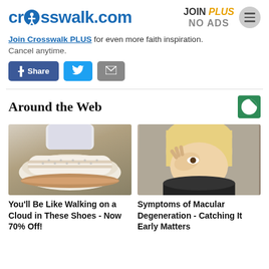crosswalk.com | JOIN PLUS NO ADS
Join Crosswalk PLUS for even more faith inspiration. Cancel anytime.
[Figure (other): Social share buttons: Facebook Share, Twitter, Email]
Around the Web
[Figure (photo): White slip-on shoes with woven pattern on dark ground]
You'll Be Like Walking on a Cloud in These Shoes - Now 70% Off!
[Figure (photo): Blonde woman holding her eye, appearing to be in discomfort]
Symptoms of Macular Degeneration - Catching It Early Matters